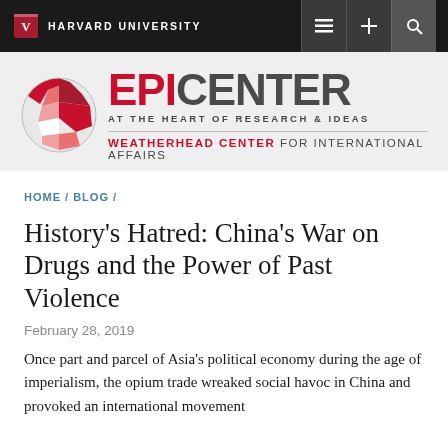HARVARD UNIVERSITY
[Figure (logo): Epicenter at the Heart of Research & Ideas — Weatherhead Center for International Affairs logo with globe graphic]
HOME / BLOG /
History's Hatred: China's War on Drugs and the Power of Past Violence
February 28, 2019
Once part and parcel of Asia's political economy during the age of imperialism, the opium trade wreaked social havoc in China and provoked an international movement